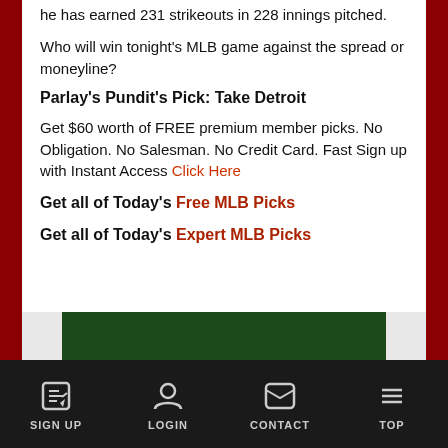he has earned 231 strikeouts in 228 innings pitched.
Who will win tonight's MLB game against the spread or moneyline?
Parlay's Pundit's Pick: Take Detroit
Get $60 worth of FREE premium member picks. No Obligation. No Salesman. No Credit Card. Fast Sign up with Instant Access Click Here
Get all of Today's Free MLB Picks
Get all of Today's Expert MLB Picks
[Figure (photo): Advertisement banner with dark green background, partially visible at bottom of page]
SIGN UP  LOGIN  CONTACT  TOP